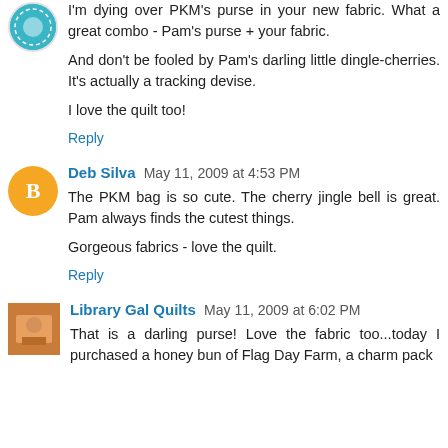I'm dying over PKM's purse in your new fabric. What a great combo - Pam's purse + your fabric.
And don't be fooled by Pam's darling little dingle-cherries. It's actually a tracking devise.
I love the quilt too!
Reply
Deb Silva May 11, 2009 at 4:53 PM
The PKM bag is so cute. The cherry jingle bell is great. Pam always finds the cutest things.
Gorgeous fabrics - love the quilt.
Reply
Library Gal Quilts May 11, 2009 at 6:02 PM
That is a darling purse! Love the fabric too...today I purchased a honey bun of Flag Day Farm, a charm pack